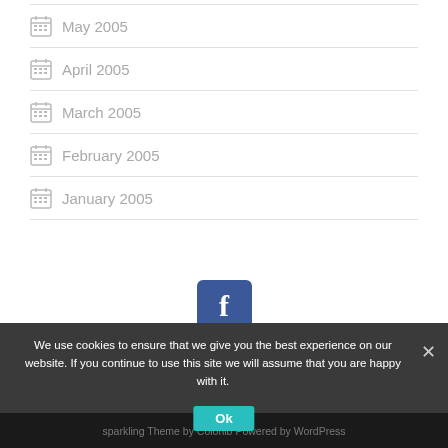May 2005
April 2005
March 2005
February 2005
January 2005
[Figure (logo): Facebook logo icon - blue rounded square with white F]
We use cookies to ensure that we give you the best experience on our website. If you continue to use this site we will assume that you are happy with it.
sparkling Theme by Colorlib Powered by WordPress